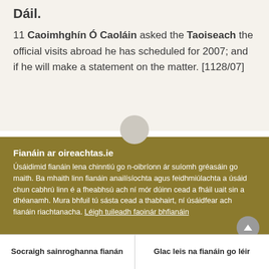11 Caoimhghín Ó Caoláin asked the Taoiseach the official visits abroad he has scheduled for 2007; and if he will make a statement on the matter. [1128/07]
Fianáin ar oireachtas.ie
Úsáidimid fianáin lena chinntiú go n-oibríonn ár suíomh gréasáin go maith. Ba mhaith linn fianáin anailísíochta agus feidhmiúlachta a úsáid chun cabhrú linn é a fheabhsú ach ní mór dúinn cead a fháil uait sin a dhéanamh. Mura bhfuil tú sásta cead a thabhairt, ní úsáidfear ach fianáin riachtanacha. Léigh tuileadh faoinár bhfianáin
Socraigh sainroghanna fianán
Glac leis na fianáin go léir